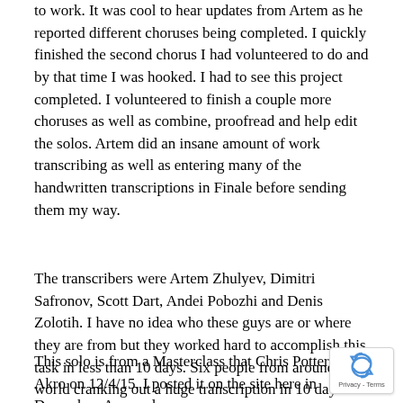to work.  It was cool to hear updates from Artem as he reported different choruses being completed.  I quickly finished the second chorus I had volunteered to do and by that time I was hooked.  I had to see this project completed.  I volunteered to finish a couple more choruses as well as combine, proofread and help edit the solos.  Artem did an insane amount of work transcribing as well as entering many of the handwritten transcriptions in Finale before sending them my way.
The transcribers were Artem Zhulyev, Dimitri Safronov, Scott Dart, Andei Pobozhi and Denis Zolotih. I have no idea who these guys are or where they are from but they worked hard to accomplish this task in less than 10 days.  Six people from around the world cranking out a huge transcription in 10 days!   Very cool!  Take a look at this 28 page transcription and I think you will be impressed also.
This solo is from a Masterclass that Chris Potter did in Akro on 12/4/15.  I posted it on the site here in December.  As usual,